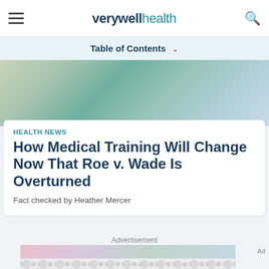verywell health
Table of Contents
[Figure (photo): Top portion of a hero image showing a colorful illustration or photo related to medical training, with teal and soft colors]
HEALTH NEWS
How Medical Training Will Change Now That Roe v. Wade Is Overturned
Fact checked by Heather Mercer
Advertisement
[Figure (photo): Advertisement image placeholder with blurred colorful background and a repeating circular pattern tile below]
Ad